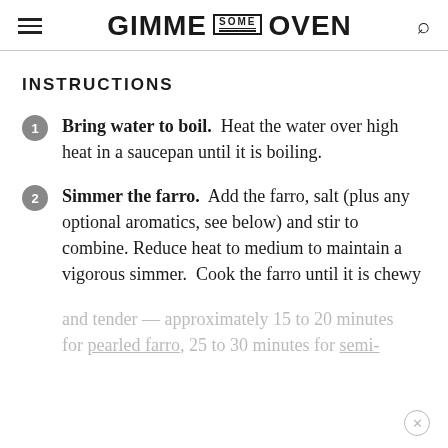GIMME SOME OVEN
INSTRUCTIONS
Bring water to boil. Heat the water over high heat in a saucepan until it is boiling.
Simmer the farro. Add the farro, salt (plus any optional aromatics, see below) and stir to combine. Reduce heat to medium to maintain a vigorous simmer. Cook the farro until it is chewy and tender — approximately 15 to 20 minutes for pearled farro, 25 to 30 minutes for semi-